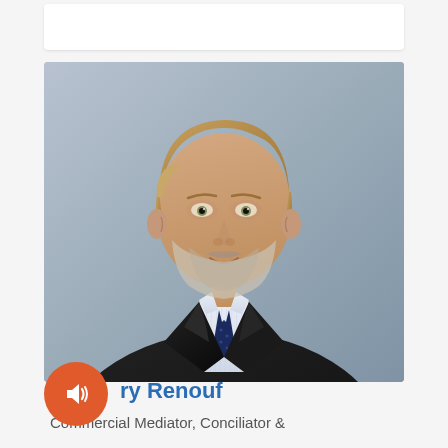[Figure (photo): Professional headshot of a middle-aged man with salt-and-pepper beard and reddish-blond hair, wearing a dark suit, white striped shirt, and navy blue tie with dots, against a grey-blue studio background.]
ry Renouf
Commercial Mediator, Conciliator &